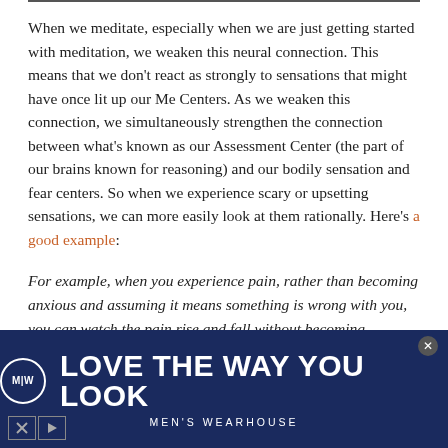When we meditate, especially when we are just getting started with meditation, we weaken this neural connection. This means that we don't react as strongly to sensations that might have once lit up our Me Centers. As we weaken this connection, we simultaneously strengthen the connection between what's known as our Assessment Center (the part of our brains known for reasoning) and our bodily sensation and fear centers. So when we experience scary or upsetting sensations, we can more easily look at them rationally. Here's a good example:
For example, when you experience pain, rather than becoming anxious and assuming it means something is wrong with you, you can watch the pain rise and fall without becoming ensnared in a story about what it might mean
[Figure (infographic): Men's Wearhouse advertisement banner with dark navy background. Shows MW logo in a circle on the left, bold white text 'LOVE THE WAY YOU LOOK', and 'MEN'S WEARHOUSE' subtitle below. Has a close (x) button top right and media control buttons bottom left.]